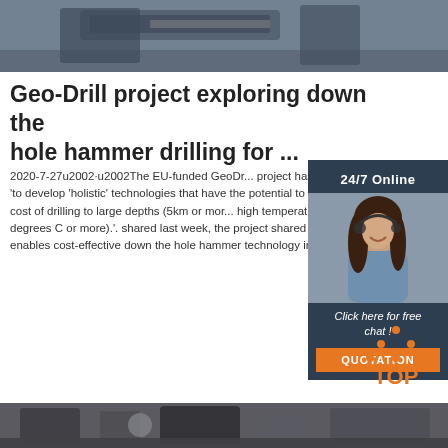[Figure (photo): Top photo showing drilling equipment machinery from above]
Geo-Drill project exploring down the hole hammer drilling for ...
2020-7-27u2002·u2002The EU-funded GeoDrill project has been set up to 'to develop 'holistic' technologies that have the potential to drastically reduce the cost of drilling to large depths (5km or more) at high temperatures (250 degrees C or more).'. As shared last week, the project shared details on a enables cost-effective down the hole hammer technology in ...
[Figure (photo): Sidebar: 24/7 Online banner with woman wearing headset smiling, Click here for free chat, QUOTATION button]
[Figure (logo): TOP logo with orange dot triangle above the word TOP in orange]
Get Price
[Figure (photo): Bottom photo showing industrial equipment in workshop]